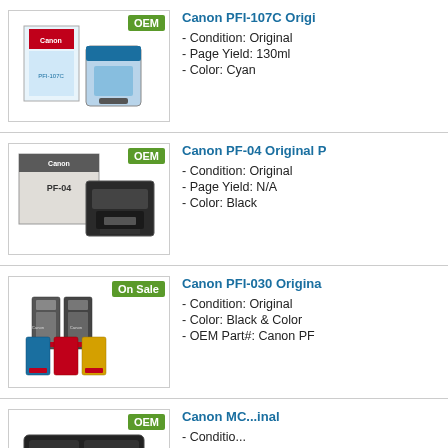[Figure (photo): Canon PFI-107C ink cartridge product image with OEM badge]
Canon PFI-107C Origi...
- Condition: Original
- Page Yield: 130ml
- Color: Cyan
[Figure (photo): Canon PF-04 print head product image with OEM badge]
Canon PF-04 Original P...
- Condition: Original
- Page Yield: N/A
- Color: Black
[Figure (photo): Canon PFI-030 ink cartridge set product image with On Sale badge]
Canon PFI-030 Origina...
- Condition: Original
- Color: Black & Color
- OEM Part#: Canon PF...
[Figure (photo): Canon MC maintenance cartridge product image with OEM badge]
Canon MC...inal
- Conditio...
- Color: Bla...
- OEM Part#: Canon MC...